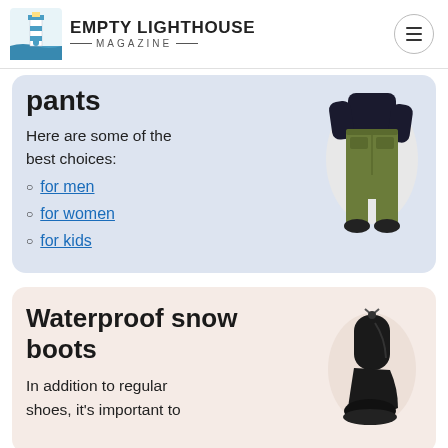EMPTY LIGHTHOUSE MAGAZINE
pants
Here are some of the best choices:
for men
for women
for kids
[Figure (photo): Person wearing olive/army green snow pants with black jacket]
Waterproof snow boots
In addition to regular shoes, it's important to
[Figure (photo): Black waterproof snow boot]